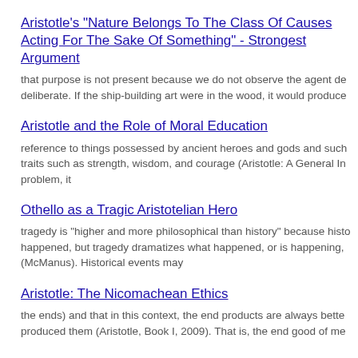Aristotle's "Nature Belongs To The Class Of Causes Acting For The Sake Of Something" - Strongest Argument
that purpose is not present because we do not observe the agent deliberate. If the ship-building art were in the wood, it would produce
Aristotle and the Role of Moral Education
reference to things possessed by ancient heroes and gods and such traits such as strength, wisdom, and courage (Aristotle: A General In problem, it
Othello as a Tragic Aristotelian Hero
tragedy is "higher and more philosophical than history" because happened, but tragedy dramatizes what happened, or is happening, (McManus). Historical events may
Aristotle: The Nicomachean Ethics
the ends) and that in this context, the end products are always produced them (Aristotle, Book I, 2009). That is, the end good of me